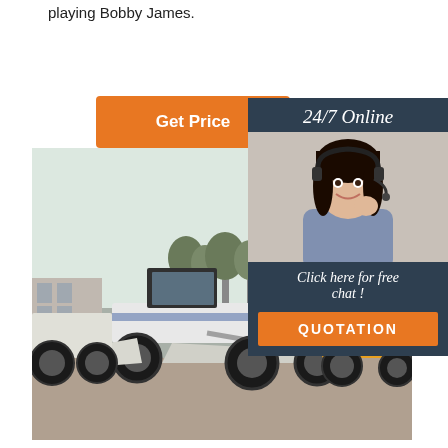playing Bobby James.
[Figure (other): Orange 'Get Price' button]
[Figure (photo): Construction machinery yard with motor graders and loaders parked outdoors]
[Figure (infographic): 24/7 Online chat box with woman wearing headset, 'Click here for free chat!' text, and orange QUOTATION button]